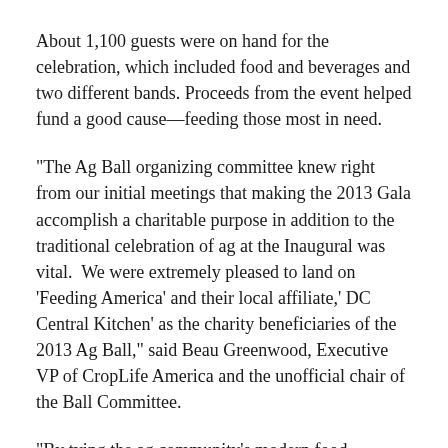About 1,100 guests were on hand for the celebration, which included food and beverages and two different bands. Proceeds from the event helped fund a good cause—feeding those most in need.
"The Ag Ball organizing committee knew right from our initial meetings that making the 2013 Gala accomplish a charitable purpose in addition to the traditional celebration of ag at the Inaugural was vital.  We were extremely pleased to land on 'Feeding America' and their local affiliate,' DC Central Kitchen' as the charity beneficiaries of the 2013 Ag Ball," said Beau Greenwood, Executive VP of CropLife America and the unofficial chair of the Ball Committee.
"By tying the ag community's modern food production day-job to hunger alleviation charity support as part of the Ball, we show strong support for a message that [Agriculture]